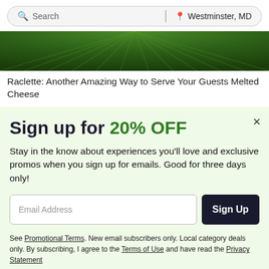Search | Westminster, MD
[Figure (photo): Green banner image with radial light rays on dark green background]
Raclette: Another Amazing Way to Serve Your Guests Melted Cheese
Sign up for 20% OFF
Stay in the know about experiences you'll love and exclusive promos when you sign up for emails. Good for three days only!
Email Address [input field] Sign Up [button]
See Promotional Terms. New email subscribers only. Local category deals only. By subscribing, I agree to the Terms of Use and have read the Privacy Statement